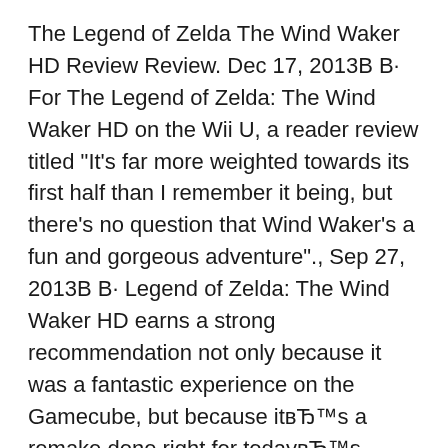The Legend of Zelda The Wind Waker HD Review Review. Dec 17, 2013В В· For The Legend of Zelda: The Wind Waker HD on the Wii U, a reader review titled "It's far more weighted towards its first half than I remember it being, but there's no question that Wind Waker's a fun and gorgeous adventure"., Sep 27, 2013В В· Legend of Zelda: The Wind Waker HD earns a strong recommendation not only because it was a fantastic experience on the Gamecube, but because itвЂ™s a remake done right for todayвЂ™s gamer too. The original was my favorite Zelda game of all time, but it still had several flaws that always bothered me through all these years..